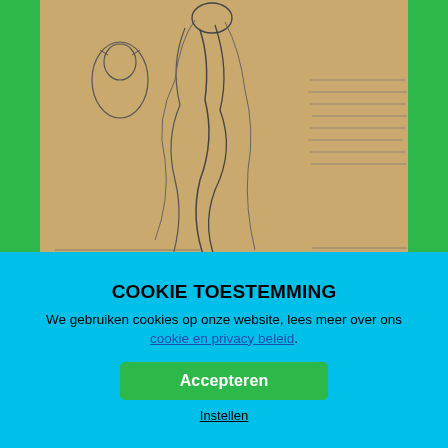[Figure (photo): Old artwork/drawing on yellowed paper showing figures with long hair and handwritten text, displayed on a museum-style webpage with green sidebar accents]
TENTOONSTELLING: FOR THE LOVE OF ART CHARLES STEFFEN
[Figure (photo): Second artwork image partially visible, showing a blue sculptural object against a light background]
COOKIE TOESTEMMING
We gebruiken cookies op onze website, lees meer over ons cookie en privacy beleid.
Accepteren
Instellen